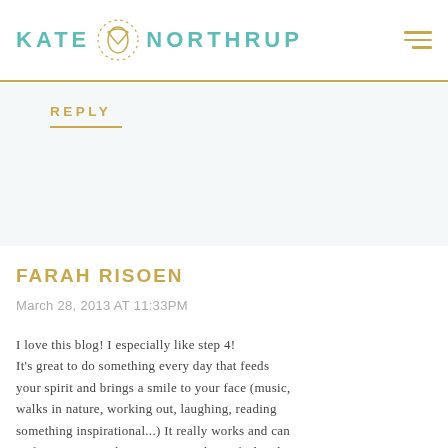KATE NORTHRUP
REPLY
FARAH RISOEN
March 28, 2013 AT 11:33PM
I love this blog! I especially like step 4! It's great to do something every day that feeds your spirit and brings a smile to your face (music, walks in nature, working out, laughing, reading something inspirational...) It really works and can re-focus you on what you want to have, feel and